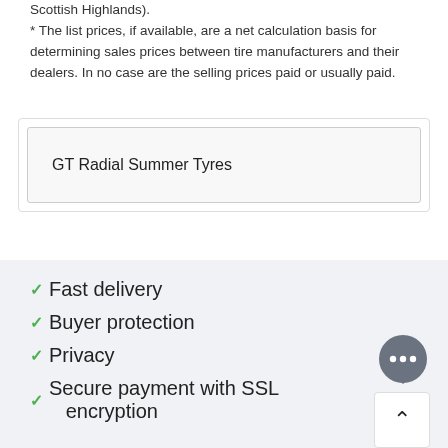Scottish Highlands).
* The list prices, if available, are a net calculation basis for determining sales prices between tire manufacturers and their dealers. In no case are the selling prices paid or usually paid.
GT Radial Summer Tyres
Fast delivery
Buyer protection
Privacy
Secure payment with SSL encryption